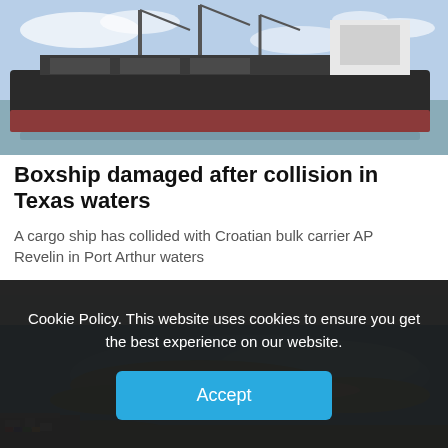[Figure (photo): Cargo/bulk carrier ship at sea, dark hull with red lower section, cranes on deck, blue sky with light clouds]
Boxship damaged after collision in Texas waters
A cargo ship has collided with Croatian bulk carrier AP Revelin in Port Arthur waters
[Figure (photo): Aerial view of a coastal port area with blue water, green vegetation, barrier islands, and port facilities in lower left]
Cookie Policy. This website uses cookies to ensure you get the best experience on our website.